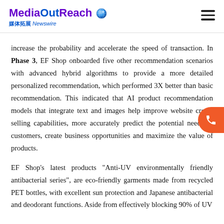MediaOutReach 媒体拓展 Newswire
increase the probability and accelerate the speed of transaction. In Phase 3, EF Shop onboarded five other recommendation scenarios with advanced hybrid algorithms to provide a more detailed personalized recommendation, which performed 3X better than basic recommendation. This indicated that AI product recommendation models that integrate text and images help improve website cross-selling capabilities, more accurately predict the potential needs of customers, create business opportunities and maximize the value of products.
EF Shop's latest products "Anti-UV environmentally friendly antibacterial series", are eco-friendly garments made from recycled PET bottles, with excellent sun protection and Japanese antibacterial and deodorant functions. Aside from effectively blocking 90% of UV